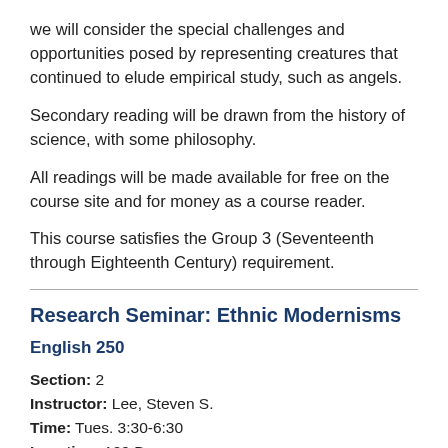we will consider the special challenges and opportunities posed by representing creatures that continued to elude empirical study, such as angels.
Secondary reading will be drawn from the history of science, with some philosophy.
All readings will be made available for free on the course site and for money as a course reader.
This course satisfies the Group 3 (Seventeenth through Eighteenth Century) requirement.
Research Seminar: Ethnic Modernisms
English 250
Section: 2
Instructor: Lee, Steven S.
Time: Tues. 3:30-6:30
Location: 129 Barrows